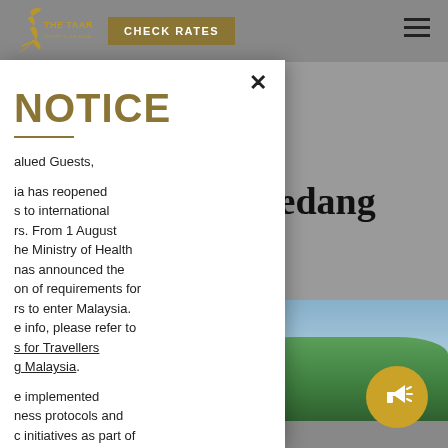[Figure (screenshot): The Taaras hotel website screenshot showing navigation bar with logo, CHECK RATES button, and hamburger menu. Background shows partial headline text 'to Redang nd' and a photo of an airstrip with jungle and a person, plus a gold megaphone badge.]
NOTICE
alued Guests,
ia has reopened s to international rs. From 1 August he Ministry of Health nas announced the on of requirements for rs to enter Malaysia. e info, please refer to s for Travellers g Malaysia.
e implemented ness protocols and c initiatives as part of an & Safe tment to enhance